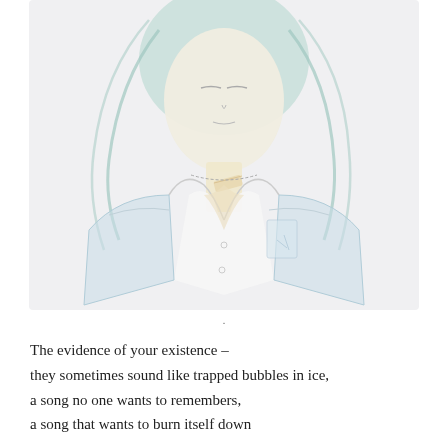[Figure (illustration): An anime-style illustration of a young person with teal/mint colored hair, wearing an open white shirt or lab coat. The face is mostly featureless/blank (no eyes visible, subtle nose and mouth). There is a bandage on the neck/collar area and what appears to be a chain necklace. The art style is soft watercolor-like with light blue and cream tones.]
.

The evidence of your existence –
they sometimes sound like trapped bubbles in ice,
a song no one wants to remembers,
a song that wants to burn itself down